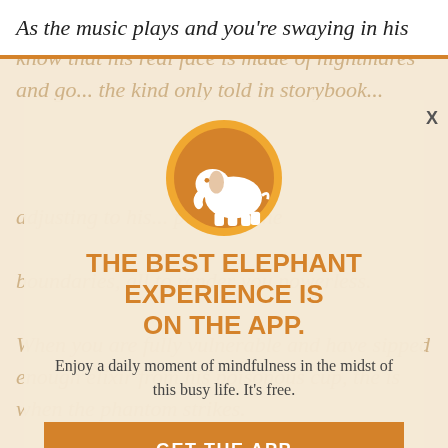As the music plays and you’re swaying in his
arms, his mask will drop. And little do you know that his real face is made of nightmares and go... the kind only told in storybooks...
[Figure (logo): Orange circle with white elephant silhouette logo]
THE BEST ELEPHANT EXPERIENCE IS ON THE APP.
Enjoy a daily moment of mindfulness in the midst of this busy life. It’s free.
GET THE APP
OPEN IN APP